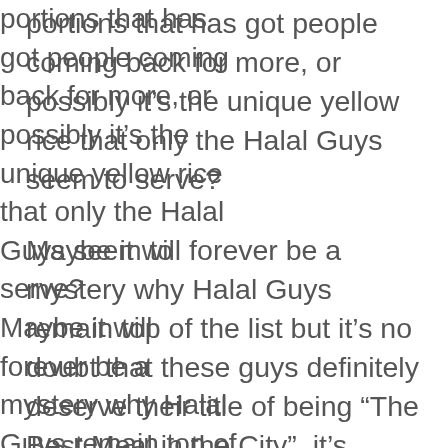portions that has got people coming back for more, or possibly it's the unique yellow rice that only the Halal Guys seem to serve?
Maybe it will forever be a mystery why Halal Guys remain top of the list but it's no doubt that these guys definitely deserve their title of being “The Best Meal in the City”, it's honestly affordable, huge, and delicious, simple enough.
So the next time you’re in the Big Apple, make sure to spare a New